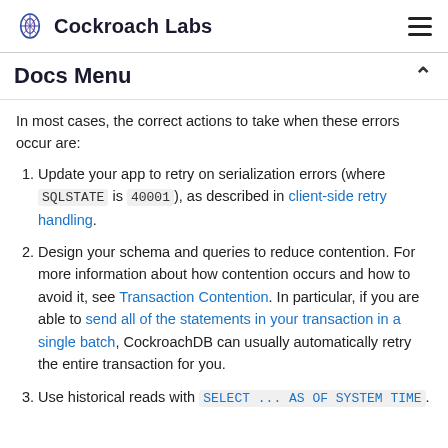Cockroach Labs
Docs Menu
In most cases, the correct actions to take when these errors occur are:
Update your app to retry on serialization errors (where SQLSTATE is 40001), as described in client-side retry handling.
Design your schema and queries to reduce contention. For more information about how contention occurs and how to avoid it, see Transaction Contention. In particular, if you are able to send all of the statements in your transaction in a single batch, CockroachDB can usually automatically retry the entire transaction for you.
Use historical reads with SELECT ... AS OF SYSTEM TIME.